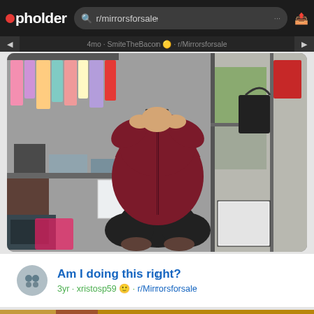pholder  r/mirrorsforsale
4mo · SmiteTheBacon · r/Mirrorsforsale
[Figure (photo): Mirror selfie photo taken in what appears to be a thrift store or garage sale. A person in a dark red/maroon fuzzy zip-up hoodie and black leggings is crouching/squatting to take a selfie with their phone. Behind them are racks of hanging clothes, storage bins, and a decorative bag on the floor. Natural light comes from windows on the right side.]
Am I doing this right?
3yr · xristosp59 · r/Mirrorsforsale
[Figure (photo): Partial view of a second photo showing a cat (orange tabby) visible in the lower portion, with a round mirror frame visible on the left edge.]